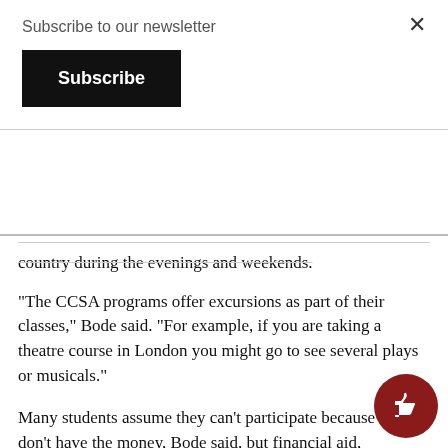Subscribe to our newsletter
Subscribe
country during the evenings and weekends.
“The CCSA programs offer excursions as part of their classes,” Bode said. “For example, if you are taking a theatre course in London you might go to see several plays or musicals.”
Many students assume they can’t participate because they don’t have the money, Bode said, but financial aid, scholarships, and grants are available for study abroad opportunities.
“We encourage them to look through different outlets to find the funding available,” she said.
NKU has $50,000 available per academic year for study abroad scholarships. Students can contact the Office of Student Fi… Assistance to determine if they are eligible for any other finan…